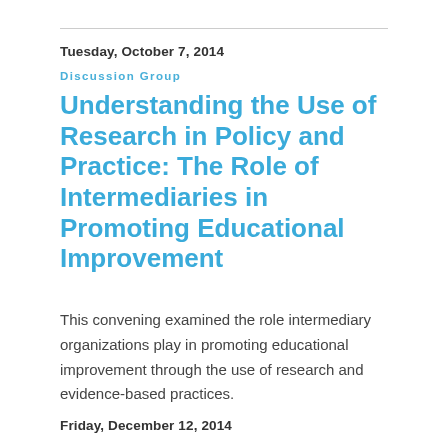Tuesday, October 7, 2014
Discussion Group
Understanding the Use of Research in Policy and Practice: The Role of Intermediaries in Promoting Educational Improvement
This convening examined the role intermediary organizations play in promoting educational improvement through the use of research and evidence-based practices.
Friday, December 12, 2014